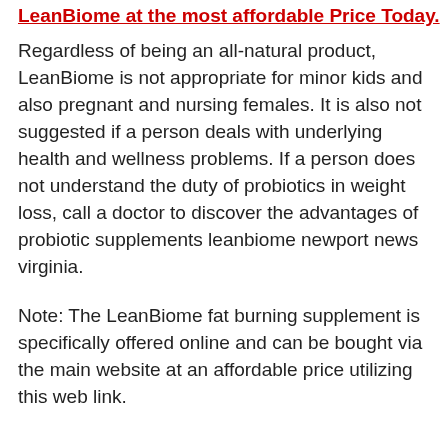LeanBiome at the most affordable Price Today.
Regardless of being an all-natural product, LeanBiome is not appropriate for minor kids and also pregnant and nursing females. It is also not suggested if a person deals with underlying health and wellness problems. If a person does not understand the duty of probiotics in weight loss, call a doctor to discover the advantages of probiotic supplements leanbiome newport news virginia.
Note: The LeanBiome fat burning supplement is specifically offered online and can be bought via the main website at an affordable price utilizing this web link.